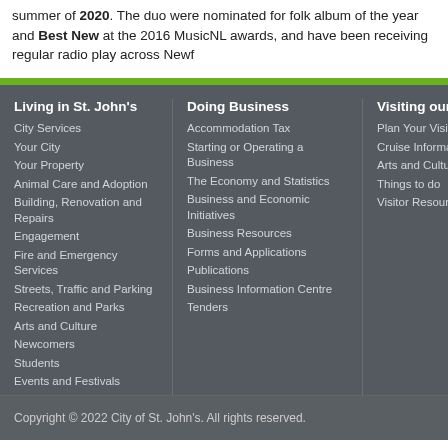summer of 2020. The duo were nominated for folk album of the year and Best New at the 2016 MusicNL awards, and have been receiving regular radio play across Newf...
Living in St. John's
City Services
Your City
Your Property
Animal Care and Adoption
Building, Renovation and Repairs
Engagement
Fire and Emergency Services
Streets, Traffic and Parking
Recreation and Parks
Arts and Culture
Newcomers
Students
Events and Festivals
Forms and Applications
Publications
Housing
Parks, Playgrounds and Trails
Doing Business
Accommodation Tax
Starting or Operating a Business
The Economy and Statistics
Business and Economic Initiatives
Business Resources
Forms and Applications
Publications
Business Information Centre
Tenders
Visiting our C...
Plan Your Visit...
Cruise Informat...
Arts and Cultur...
Things to do
Visitor Resourc...
Copyright © 2022 City of St. John's. All rights reserved.